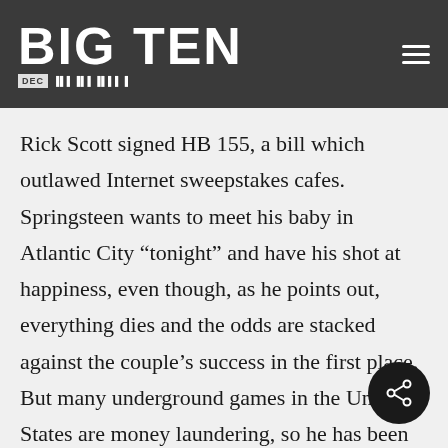BIG TEN
Rick Scott signed HB 155, a bill which outlawed Internet sweepstakes cafes. Springsteen wants to meet his baby in Atlantic City “tonight” and have his shot at happiness, even though, as he points out, everything dies and the odds are stacked against the couple’s success in the first place. But many underground games in the United States are money laundering, so he has been accused in court because he once won 310,000 US dollars, and the 310,000 US dollars were suspected of illegal criminal fraud. It probably has the largest welcome